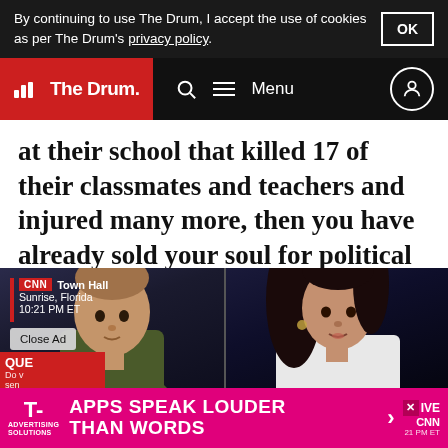By continuing to use The Drum, I accept the use of cookies as per The Drum's privacy policy.
The Drum — Menu
at their school that killed 17 of their classmates and teachers and injured many more, then you have already sold your soul for political gain. Go home.
[Figure (screenshot): CNN Town Hall screenshot showing two people side-by-side: a young person with shaved head on the left and a dark-haired woman on the right. Caption shows CNN Town Hall, Sunrise, Florida, 10:21 PM ET. Bottom overlay shows 'Close Ad' button and T-Mobile advertisement reading 'APPS SPEAK LOUDER THAN WORDS'.]